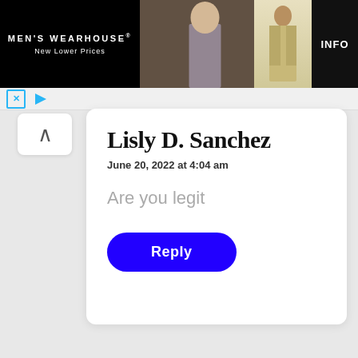[Figure (screenshot): Men's Wearhouse advertisement banner with couple in formal wear and a man in a tan suit, with INFO button]
Lisly D. Sanchez
June 20, 2022 at 4:04 am
Are you legit
Reply